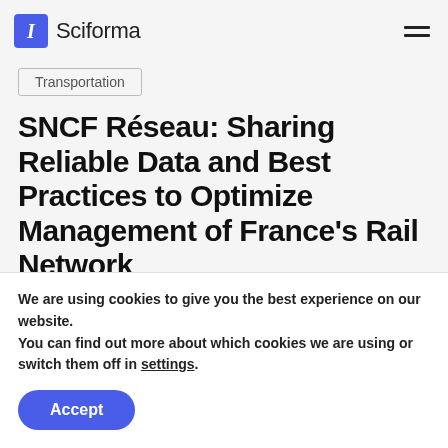Sciforma
Transportation
SNCF Réseau: Sharing Reliable Data and Best Practices to Optimize Management of France's Rail Network
We are using cookies to give you the best experience on our website.
You can find out more about which cookies we are using or switch them off in settings.
Accept